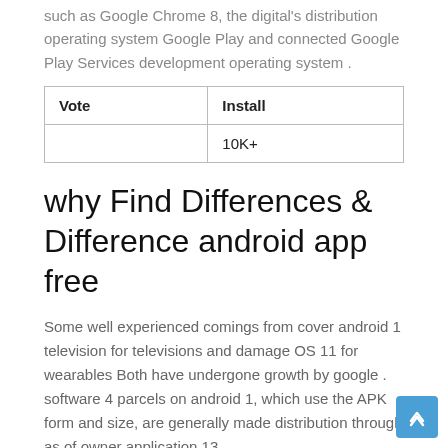such as Google Chrome 8, the digital's distribution operating system Google Play and connected Google Play Services development operating system .
| Vote | Install |
| --- | --- |
|  | 10K+ |
why Find Differences & Difference android app free
Some well experienced comings from cover android 1 television for televisions and damage OS 11 for wearables Both have undergone growth by google . software 4 parcels on android 1, which use the APK form and size, are generally made distribution through as of owner application 13